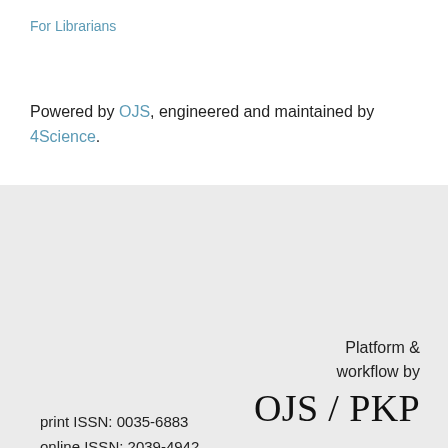For Librarians
Powered by OJS, engineered and maintained by 4Science.
print ISSN: 0035-6883
online ISSN: 2039-4942
Platform & workflow by OJS / PKP